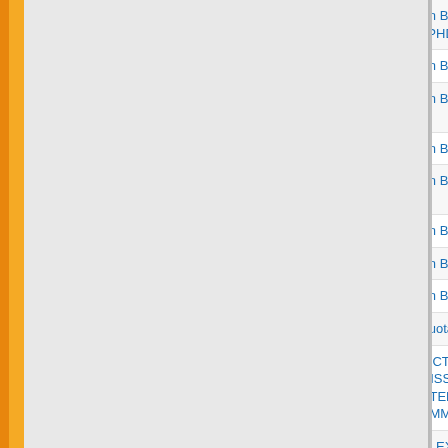| No. | Date | Title/Link |
| --- | --- | --- |
| 173. | 05/04/2021 | Question Bo... MPHIL/PHD... |
| 174. | 05/04/2021 | Question Bo... |
| 175. | 05/04/2021 | Question Bo... 2020 |
| 176. | 05/04/2021 | Question Bo... |
| 177. | 05/04/2021 | Question Bo... 2020 |
| 178. | 05/04/2021 | Question Bo... |
| 179. | 05/04/2021 | Question Bo... |
| 180. | 05/04/2021 | Question Bo... |
| 181. | 05/04/2021 | OMR-Quotat... |
| 182. | 31/03/2021 | INSTRUCTIO... WHO MISSE... SEMESTER... Etc. COMME... |
| 183. | 20/03/2021 | ONLINE EXA... |
| 184. | 10/03/2021 | INSTRUCTIO... ENVIRONME... VIOLENCE A... CONDUCTE... |